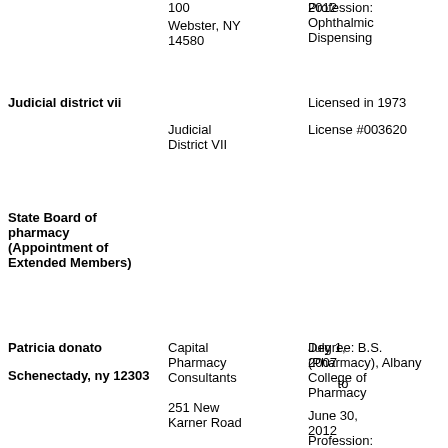100
Webster, NY 14580
2012
Profession: Ophthalmic Dispensing
Judicial district vii
Licensed in 1973
Judicial District VII
License #003620
State Board of pharmacy (Appointment of Extended Members)
Patricia donato
Schenectady, ny 12303
Capital Pharmacy Consultants
251 New Karner Road
July 1, 2007
to
June 30, 2012
Degree: B.S. (Pharmacy), Albany College of Pharmacy
Profession: Pharmacy